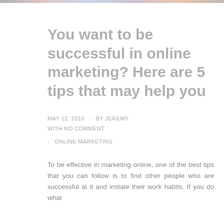You want to be successful in online marketing? Here are 5 tips that may help you
MAY 12, 2016 · BY JEREMY WITH NO COMMENT
· ONLINE MARKETING
To be effective in marketing online, one of the best tips that you can follow is to find other people who are successful at it and imitate their work habits. If you do what